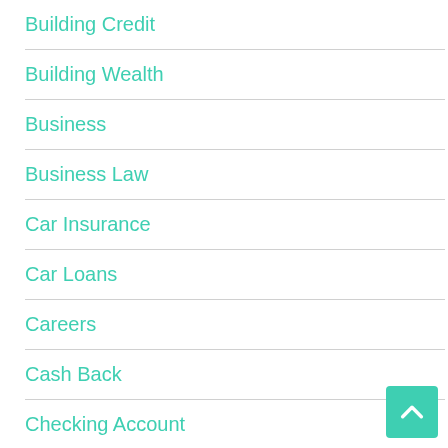Building Credit
Building Wealth
Business
Business Law
Car Insurance
Car Loans
Careers
Cash Back
Checking Account
College
Commercial Real Estate
Credit 101
Credit Card News